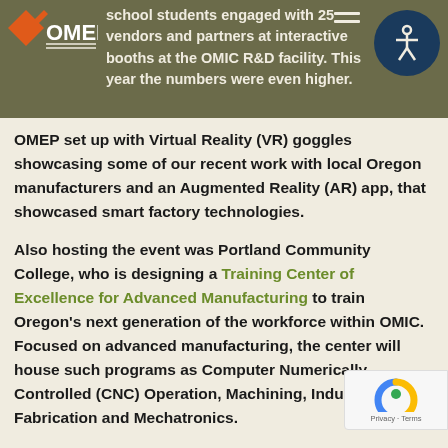school students engaged with 25 vendors and partners at interactive booths at the OMIC R&D facility. This year the numbers were even higher.
OMEP set up with Virtual Reality (VR) goggles showcasing some of our recent work with local Oregon manufacturers and an Augmented Reality (AR) app, that showcased smart factory technologies.
Also hosting the event was Portland Community College, who is designing a Training Center of Excellence for Advanced Manufacturing to train Oregon's next generation of the workforce within OMIC. Focused on advanced manufacturing, the center will house such programs as Computer Numerically Controlled (CNC) Operation, Machining, Industrial Fabrication and Mechatronics.